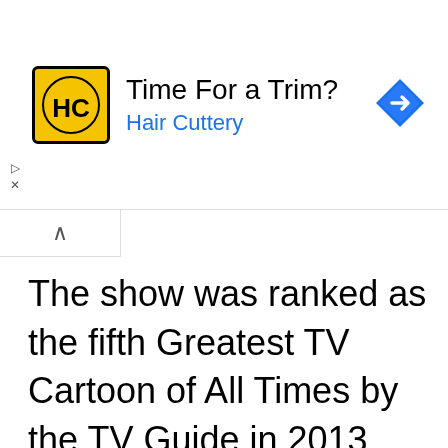[Figure (logo): Hair Cuttery advertisement banner with HC logo, text 'Time For a Trim?' and 'Hair Cuttery', and a blue navigation diamond icon]
The show was ranked as the fifth Greatest TV Cartoon of All Times by the TV Guide in 2013. Today there are
We use cookies on our website to give you the most relevant experience by remembering your preferences and repeat visits. By clicking “Accept”, you consent to the use of ALL the cookies.
Cookie settings   ACCEPT